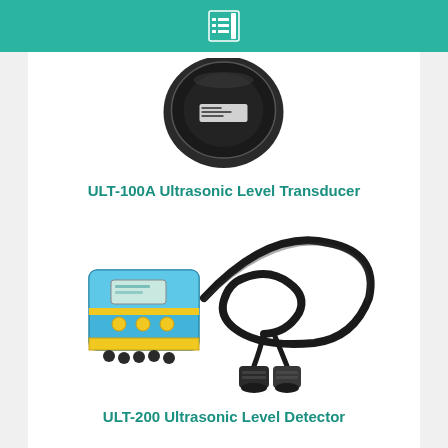[Figure (photo): Black circular ultrasonic transducer sensor viewed from front, showing a round black housing with a label on it.]
ULT-100A Ultrasonic Level Transducer
[Figure (photo): Ultrasonic level detector kit with a blue and yellow rectangular controller box with LCD display and buttons, connected by a long coiled black cable to two black cylindrical ultrasonic sensor probes.]
ULT-200 Ultrasonic Level Detector